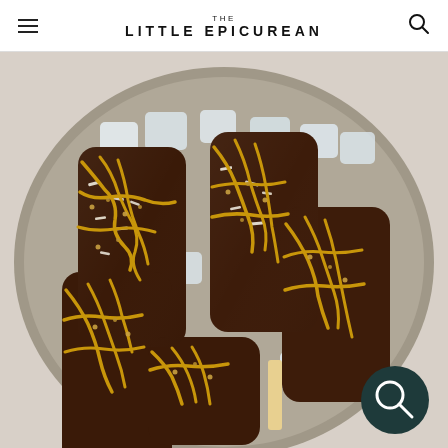THE LITTLE EPICUREAN
[Figure (photo): Overhead view of chocolate-dipped banana popsicles drizzled with peanut butter sauce and topped with shredded coconut and crushed peanuts, arranged on a round metal tray filled with ice cubes. A floating search button is visible in the lower right corner.]